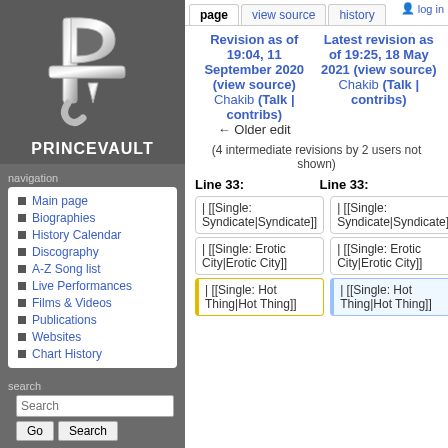[Figure (logo): PrinceVault logo with stylized P and cross symbol in silver/chrome style]
PRINCEVAULT
navigation
Main page
Biographies
History Calendar
Discography
A-Z Song list
Live Performances
Films & Videos
Publications
Websites
Chart History
search
page | view source | history | log in
Revision as of 19:04, 11 September 2020 (view source)
Chakib (Talk | contribs)
← Older edit
Latest revision as of 19:25, 18 May 2021 (view source)
Chakib (Talk | contribs)
(4 intermediate revisions by 2 users not shown)
Line 33:
Line 33:
| [[Single: Syndicate|Syndicate]]
| [[Single: Syndicate|Syndicate]]
| [[Single: Erotic City|Erotic City]]
| [[Single: Erotic City|Erotic City]]
| [[Single: Hot Thing|Hot Thing]]
| [[Single: Hot Thing|Hot Thing]]